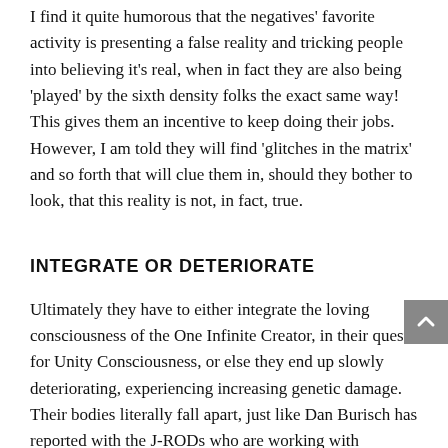I find it quite humorous that the negatives' favorite activity is presenting a false reality and tricking people into believing it's real, when in fact they are also being 'played' by the sixth density folks the exact same way! This gives them an incentive to keep doing their jobs. However, I am told they will find 'glitches in the matrix' and so forth that will clue them in, should they bother to look, that this reality is not, in fact, true.
INTEGRATE OR DETERIORATE
Ultimately they have to either integrate the loving consciousness of the One Infinite Creator, in their quest for Unity Consciousness, or else they end up slowly deteriorating, experiencing increasing genetic damage. Their bodies literally fall apart, just like Dan Burisch has reported with the J-RODs who are working with Majestic. Ultimately they will dissolve back into pure energy if they do not make the shift to loving consciousness.
In Ra's case back on Venus, a man and woman were at the